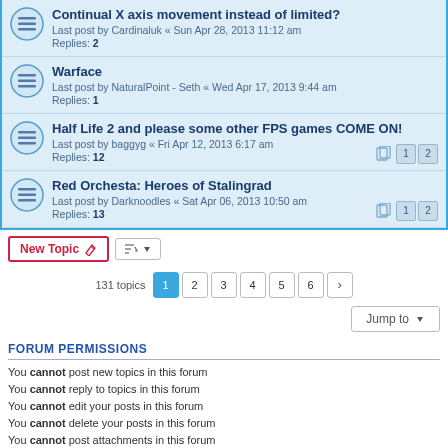Continual X axis movement instead of limited? — Last post by Cardinaluk « Sun Apr 28, 2013 11:12 am — Replies: 2
Warface — Last post by NaturalPoint - Seth « Wed Apr 17, 2013 9:44 am — Replies: 1
Half Life 2 and please some other FPS games COME ON! — Last post by baggyg « Fri Apr 12, 2013 6:17 am — Replies: 12
Red Orchesta: Heroes of Stalingrad — Last post by Darknoodles « Sat Apr 06, 2013 10:50 am — Replies: 13
New Topic | Sort | 131 topics | 1 2 3 4 5 6 >
Jump to
FORUM PERMISSIONS
You cannot post new topics in this forum
You cannot reply to topics in this forum
You cannot edit your posts in this forum
You cannot delete your posts in this forum
You cannot post attachments in this forum